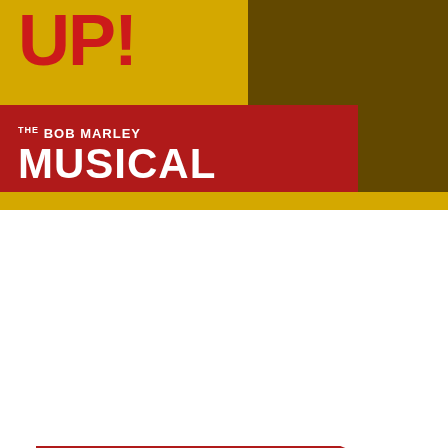[Figure (illustration): Bob Marley musical poster with yellow background, silhouette of performer, red ribbon with 'THE BOB MARLEY MUSICAL' text, and large red 'UP!' text]
[Figure (infographic): Ticket offer card on blue background showing crossed-out price WAS £22.50 and new price NOW £20.00, with booking info: Booking until 8 January 2023, Run time is 2 hours 30 minutes (including an interval)]